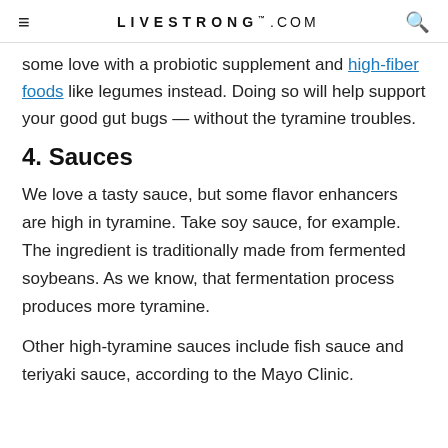LIVESTRONG.COM
some love with a probiotic supplement and high-fiber foods like legumes instead. Doing so will help support your good gut bugs — without the tyramine troubles.
4. Sauces
We love a tasty sauce, but some flavor enhancers are high in tyramine. Take soy sauce, for example. The ingredient is traditionally made from fermented soybeans. As we know, that fermentation process produces more tyramine.
Other high-tyramine sauces include fish sauce and teriyaki sauce, according to the Mayo Clinic.